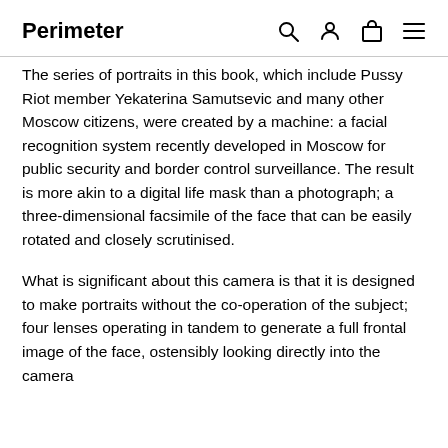Perimeter
The series of portraits in this book, which include Pussy Riot member Yekaterina Samutsevic and many other Moscow citizens, were created by a machine: a facial recognition system recently developed in Moscow for public security and border control surveillance. The result is more akin to a digital life mask than a photograph; a three-dimensional facsimile of the face that can be easily rotated and closely scrutinised.
What is significant about this camera is that it is designed to make portraits without the co-operation of the subject; four lenses operating in tandem to generate a full frontal image of the face, ostensibly looking directly into the camera